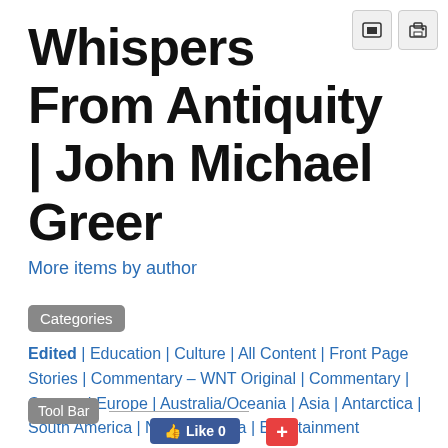Whispers From Antiquity | John Michael Greer
More items by author
Categories
Edited | Education | Culture | All Content | Front Page Stories | Commentary – WNT Original | Commentary | Oceans | Europe | Australia/Oceania | Asia | Antarctica | South America | North America | Entertainment
Tool Bar
Like 0